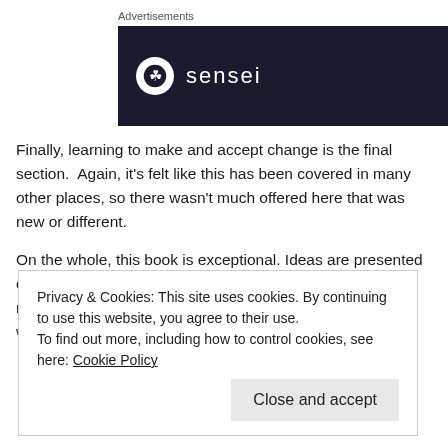[Figure (logo): Sensei brand advertisement banner with dark navy background showing a circular logo with a tree/bonsai icon and the word 'sensei' in white text]
Finally, learning to make and accept change is the final section.  Again, it's felt like this has been covered in many other places, so there wasn't much offered here that was new or different.
On the whole, this book is exceptional. Ideas are presented clearly, practical applications and exercises are given, and nothing is overdone. I expect this will be one of the books I will end up rereading several times over the rest of my life.
Privacy & Cookies: This site uses cookies. By continuing to use this website, you agree to their use.
To find out more, including how to control cookies, see here: Cookie Policy